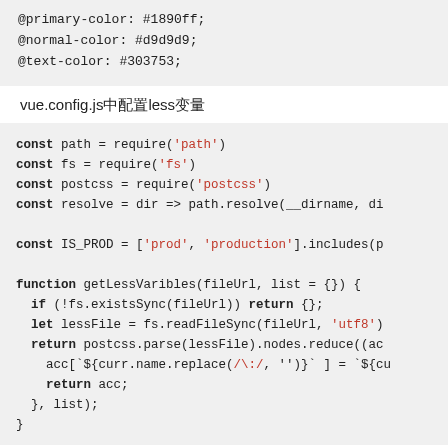[Figure (screenshot): Code block showing LESS/CSS variable declarations: @primary-color: #1890ff; @normal-color: #d9d9d9; @text-color: #303753;]
vue.config.js中配置less变量
[Figure (screenshot): JavaScript code block showing const declarations requiring path, fs, postcss modules, a resolve function, IS_PROD constant, and a getLessVaribles function that reads and parses a LESS file.]